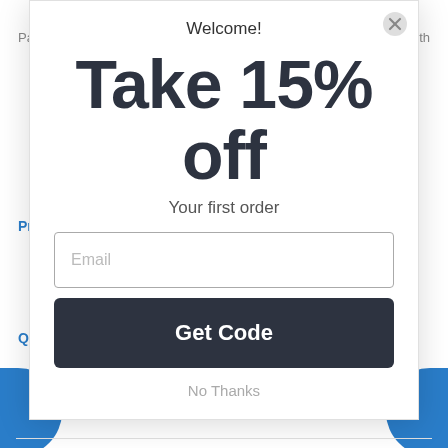Pay i
with
Price
Quanti
Welcome!
Take 15% off
Your first order
Email
Get Code
No Thanks